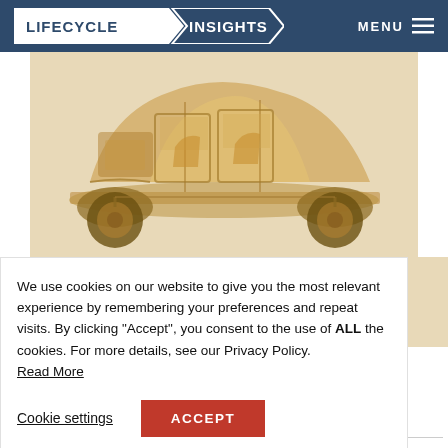LIFECYCLE INSIGHTS — MENU
[Figure (illustration): Cutaway/exploded view illustration of a car in golden/sepia tones showing internal components]
We use cookies on our website to give you the most relevant experience by remembering your preferences and repeat visits. By clicking “Accept”, you consent to the use of ALL the cookies. For more details, see our Privacy Policy. Read More
Cookie settings
ACCEPT
LEG TO OL?
ided by lysis on the